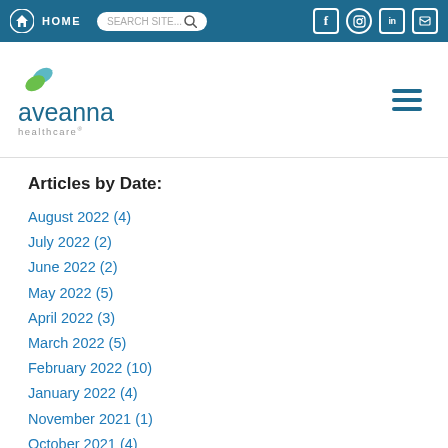HOME | SEARCH SITE... | social icons (Facebook, Instagram, LinkedIn, other)
[Figure (logo): Aveanna Healthcare logo with teal/green leaf icon and teal wordmark]
Articles by Date:
August 2022 (4)
July 2022 (2)
June 2022 (2)
May 2022 (5)
April 2022 (3)
March 2022 (5)
February 2022 (10)
January 2022 (4)
November 2021 (1)
October 2021 (4)
September 2021 (3)
August 2021 (7)
July 2021 (4)
June 2021 (1)
May 2021 (2)
March 2021 (2)